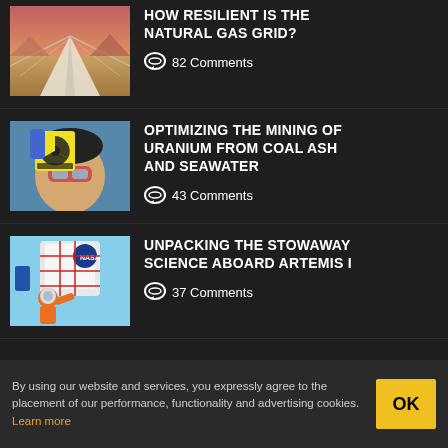[Figure (illustration): Artistic illustration of a highway/pipeline grid from aerial perspective in desert-like landscape]
HOW RESILIENT IS THE NATURAL GAS GRID?
💬 82 Comments
[Figure (photo): Photo of a scientist holding a radioactive warning sign, wearing safety goggles]
OPTIMIZING THE MINING OF URANIUM FROM COAL ASH AND SEAWATER
💬 43 Comments
[Figure (illustration): Illustration of an astronaut in orange spacesuit working outside a spacecraft with NASA logo]
UNPACKING THE STOWAWAY SCIENCE ABOARD ARTEMIS I
💬 37 Comments
By using our website and services, you expressly agree to the placement of our performance, functionality and advertising cookies. Learn more